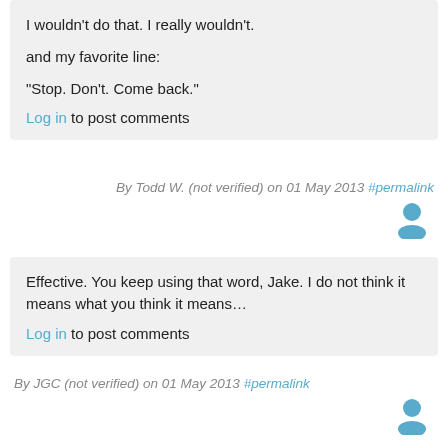I wouldn't do that. I really wouldn't.
and my favorite line:
"Stop. Don't. Come back."
Log in to post comments
By Todd W. (not verified) on 01 May 2013 #permalink
Effective. You keep using that word, Jake. I do not think it means what you think it means…
Log in to post comments
By JGC (not verified) on 01 May 2013 #permalink
our corporate ethics prevent us from distributing